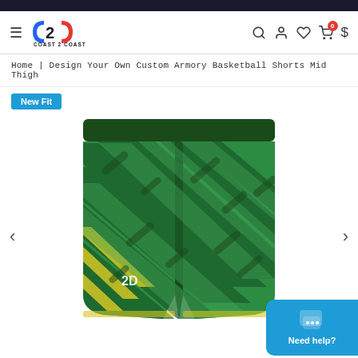Coast 2 Coast - navigation header
Home | Design Your Own Custom Armory Basketball Shorts Mid Thigh
New Fit
[Figure (photo): Green and yellow camouflage-style basketball shorts with diagonal stripe pattern, displayed on white background. Shorts have a dark green waistband and a '2D' logo on left leg.]